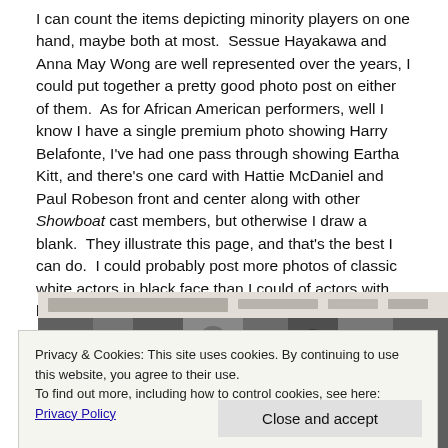I can count the items depicting minority players on one hand, maybe both at most.  Sessue Hayakawa and Anna May Wong are well represented over the years, I could put together a pretty good photo post on either of them.  As for African American performers, well I know I have a single premium photo showing Harry Belafonte, I've had one pass through showing Eartha Kitt, and there's one card with Hattie McDaniel and Paul Robeson front and center along with other Showboat cast members, but otherwise I draw a blank.  They illustrate this page, and that's the best I can do.  I could probably post more photos of classic white actors in black face than I could of actors with black faces.
[Figure (photo): A black and white photograph strip, partially visible at the bottom of the page, showing figures in a group photograph — appears to be a vintage entertainment/cast photo.]
Privacy & Cookies: This site uses cookies. By continuing to use this website, you agree to their use.
To find out more, including how to control cookies, see here: Privacy Policy
Close and accept